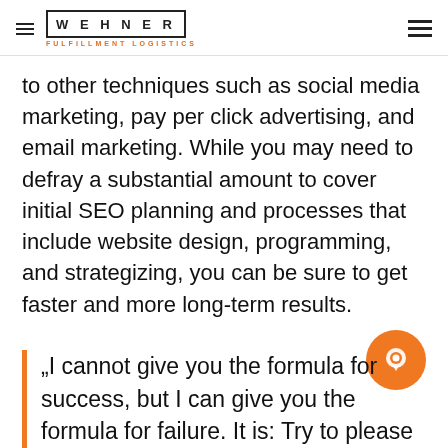WEHNER FULFILLMENT LOGISTICS
to other techniques such as social media marketing, pay per click advertising, and email marketing. While you may need to defray a substantial amount to cover initial SEO planning and processes that include website design, programming, and strategizing, you can be sure to get faster and more long-term results.
„I cannot give you the formula for success, but I can give you the formula for failure. It is: Try to please